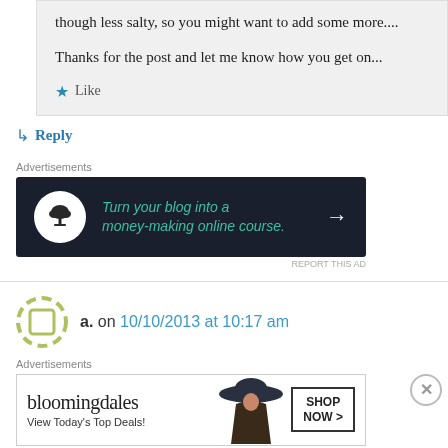though less salty, so you might want to add some more....
Thanks for the post and let me know how you get on...
★ Like
↳ Reply
Advertisements
[Figure (other): Dark advertisement banner: bonsai tree icon in white circle, teal italic text 'Turn your blog into a money-making online course.' with white arrow]
REPORT THIS AD
a. on 10/10/2013 at 10:17 am
Advertisements
[Figure (other): Bloomingdale's advertisement: logo text, 'View Today's Top Deals!', woman in hat, SHOP NOW > button]